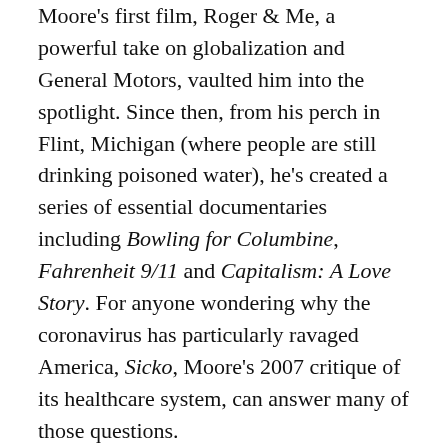Moore's first film, Roger & Me, a powerful take on globalization and General Motors, vaulted him into the spotlight. Since then, from his perch in Flint, Michigan (where people are still drinking poisoned water), he's created a series of essential documentaries including Bowling for Columbine, Fahrenheit 9/11 and Capitalism: A Love Story. For anyone wondering why the coronavirus has particularly ravaged America, Sicko, Moore's 2007 critique of its healthcare system, can answer many of those questions.
But in criticizing the relative success of both the environmental and renewable energy movements precisely as the coronavirus continues to impact all of our lives, Moore and Gibbs are truly playing with fire. Many on the far right including Trumpian favorite, Breitbart News, are championing POTH as a surprising insider admission that renewable energy's